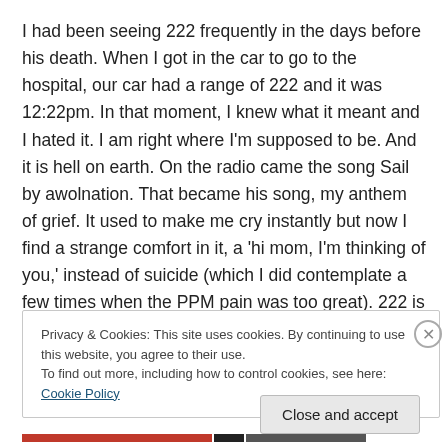I had been seeing 222 frequently in the days before his death. When I got in the car to go to the hospital, our car had a range of 222 and it was 12:22pm. In that moment, I knew what it meant and I hated it. I am right where I'm supposed to be. And it is hell on earth. On the radio came the song Sail by awolnation. That became his song, my anthem of grief. It used to make me cry instantly but now I find a strange comfort in it, a 'hi mom, I'm thinking of you,' instead of suicide (which I did contemplate a few times when the PPM pain was too great). 222 is now comforting,
Privacy & Cookies: This site uses cookies. By continuing to use this website, you agree to their use.
To find out more, including how to control cookies, see here: Cookie Policy
Close and accept